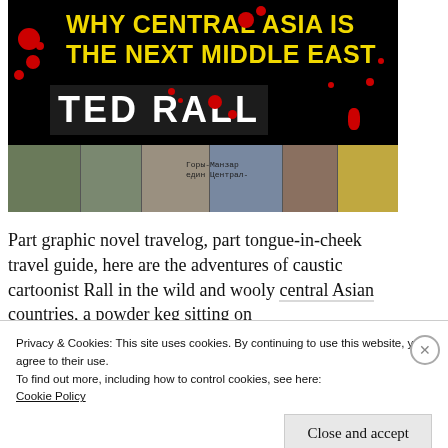[Figure (illustration): Book cover for 'Why Central Asia is the Next Middle East' by Ted Rall. Black background with bold yellow title text and white author name. Red blood splatter decorations. Bottom strip shows a collage of travel photos.]
Part graphic novel travelog, part tongue-in-cheek travel guide, here are the adventures of caustic cartoonist Rall in the wild and wooly central Asian countries, a powder keg sitting on…
Privacy & Cookies: This site uses cookies. By continuing to use this website, you agree to their use.
To find out more, including how to control cookies, see here:
Cookie Policy